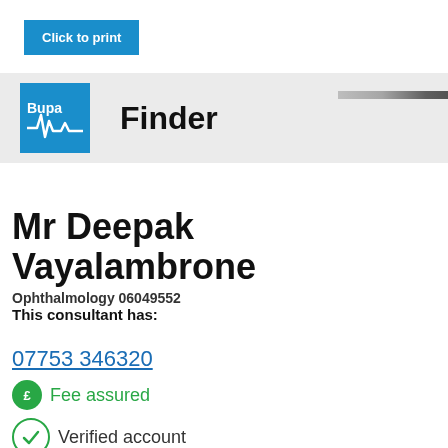[Figure (screenshot): Blue 'Click to print' button]
[Figure (logo): Bupa logo on blue background with ECG line, alongside 'Finder' text in bold, inside a light grey header bar]
Mr Deepak Vayalambrone
Ophthalmology 06049552
This consultant has:
07753 346320
Fee assured
Verified account